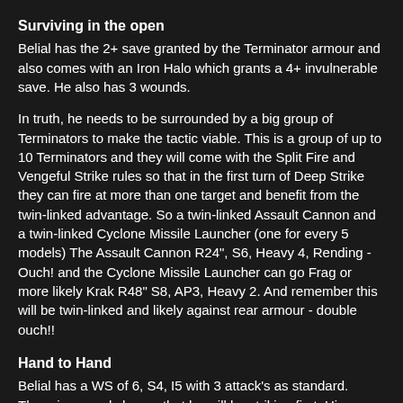Surviving in the open
Belial has the 2+ save granted by the Terminator armour and also comes with an Iron Halo which grants a 4+ invulnerable save. He also has 3 wounds.
In truth, he needs to be surrounded by a big group of Terminators to make the tactic viable. This is a group of up to 10 Terminators and they will come with the Split Fire and Vengeful Strike rules so that in the first turn of Deep Strike they can fire at more than one target and benefit from the twin-linked advantage. So a twin-linked Assault Cannon and a twin-linked Cyclone Missile Launcher (one for every 5 models) The Assault Cannon R24", S6, Heavy 4, Rending - Ouch! and the Cyclone Missile Launcher can go Frag or more likely Krak R48" S8, AP3, Heavy 2. And remember this will be twin-linked and likely against rear armour - double ouch!!
Hand to Hand
Belial has a WS of 6, S4, I5 with 3 attack's as standard. There is a good chance that he will be striking first. His